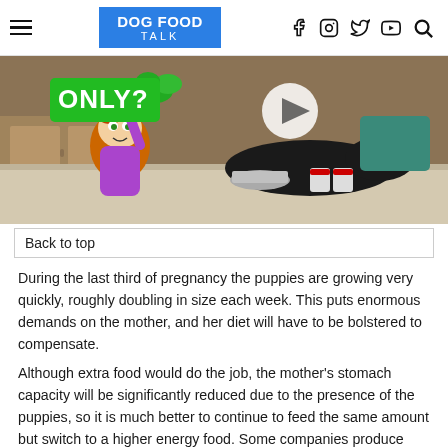DOG FOOD TALK
[Figure (photo): A veterinary exam scene with a large black dog on an examination table, a vet in scrubs petting it, a food bowl and canned food on the table, and an animated cartoon character holding greens with text 'ONLY?' in green bubble letters overlay]
Back to top
During the last third of pregnancy the puppies are growing very quickly, roughly doubling in size each week. This puts enormous demands on the mother, and her diet will have to be bolstered to compensate.
Although extra food would do the job, the mother's stomach capacity will be significantly reduced due to the presence of the puppies, so it is much better to continue to feed the same amount but switch to a higher energy food. Some companies produce specific foods for pregnant and nursing